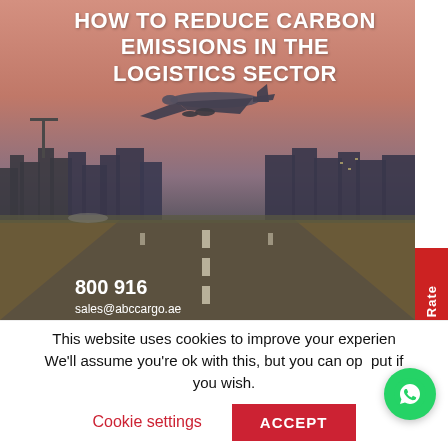[Figure (photo): Airplane taking off from a runway at dusk/dawn with a city skyline in the background. Warm pinkish-orange sky. Text overlay shows phone number 800 916 and email sales@abccargo.ae at the bottom left.]
HOW TO REDUCE CARBON EMISSIONS IN THE LOGISTICS SECTOR
800 916
sales@abccargo.ae
This website uses cookies to improve your experience. We'll assume you're ok with this, but you can opt out if you wish.
Cookie settings
ACCEPT